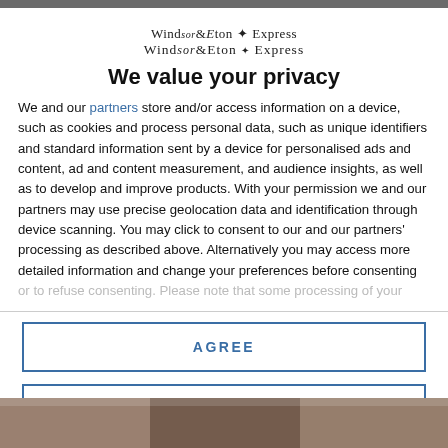Windsor & Eton Express
We value your privacy
We and our partners store and/or access information on a device, such as cookies and process personal data, such as unique identifiers and standard information sent by a device for personalised ads and content, ad and content measurement, and audience insights, as well as to develop and improve products. With your permission we and our partners may use precise geolocation data and identification through device scanning. You may click to consent to our and our partners' processing as described above. Alternatively you may access more detailed information and change your preferences before consenting or to refuse consenting. Please note that some processing of your
AGREE
MORE OPTIONS